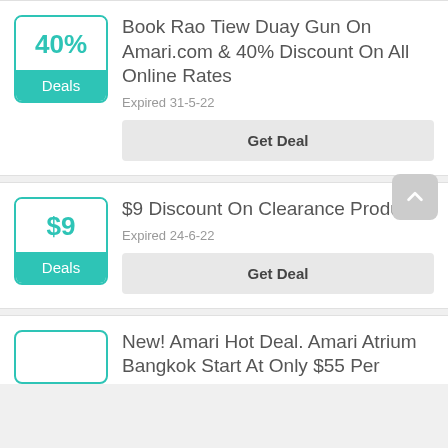[Figure (infographic): Deal card: 40% badge with teal border and 'Deals' teal label strip]
Book Rao Tiew Duay Gun On Amari.com & 40% Discount On All Online Rates
Expired 31-5-22
Get Deal
[Figure (infographic): Deal card: $9 badge with teal border and 'Deals' teal label strip]
$9 Discount On Clearance Products
Expired 24-6-22
Get Deal
New! Amari Hot Deal. Amari Atrium Bangkok Start At Only $55 Per
[Figure (infographic): Partial deal badge with teal border at bottom of page]